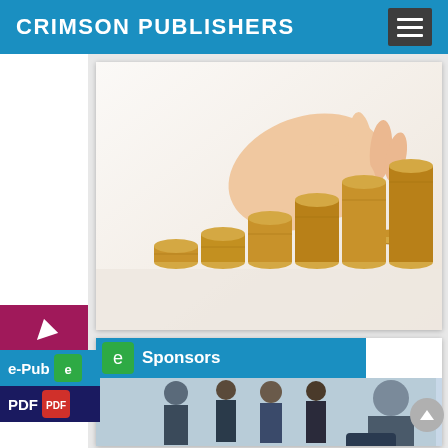CRIMSON PUBLISHERS
[Figure (photo): A hand placing a coin onto stacks of gold coins arranged in increasing heights, representing financial growth or investment]
[Figure (screenshot): A screenshot of a publisher website section showing e-Pub and PDF download buttons, a Sponsors banner, and a business meeting photo below]
e-Pub
Sponsors
PDF